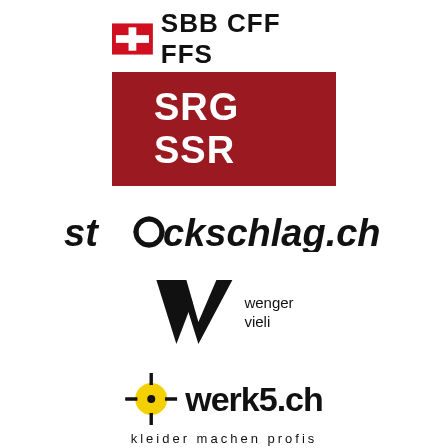[Figure (logo): SBB CFF FFS logo with red cross shield icon and bold black text 'SBB CFF FFS']
[Figure (logo): SRG SSR logo with white bold text on dark red/crimson background rectangle]
[Figure (logo): stockschlag.ch logo in bold italic black text with a dotted 'o' resembling a floorball]
[Figure (logo): wenger vieli logo with a black stylized W chevron mark and text 'wenger vieli']
[Figure (logo): werk5.ch logo with yellow crosshair/target icon and bold black text 'werk5.ch', tagline 'kleider machen profis']